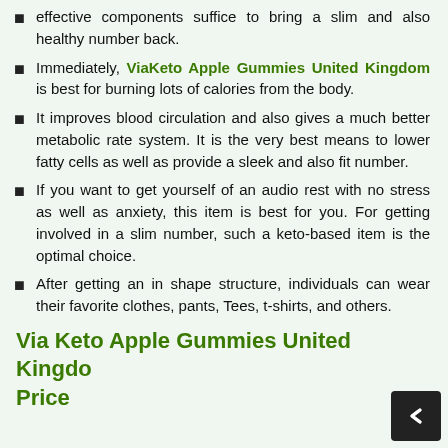effective components suffice to bring a slim and also healthy number back.
Immediately, ViaKeto Apple Gummies United Kingdom is best for burning lots of calories from the body.
It improves blood circulation and also gives a much better metabolic rate system. It is the very best means to lower fatty cells as well as provide a sleek and also fit number.
If you want to get yourself of an audio rest with no stress as well as anxiety, this item is best for you. For getting involved in a slim number, such a keto-based item is the optimal choice.
After getting an in shape structure, individuals can wear their favorite clothes, pants, Tees, t-shirts, and others.
Via Keto Apple Gummies United Kingdom Price